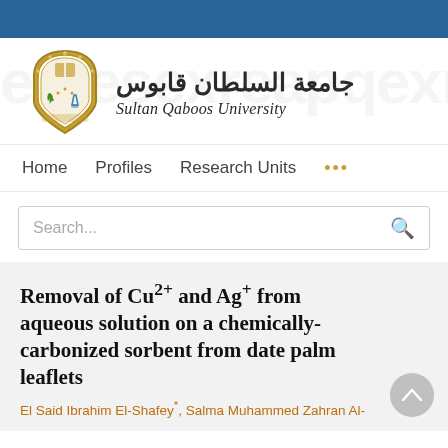Sultan Qaboos University
[Figure (logo): Sultan Qaboos University shield logo with Arabic and English name]
Home   Profiles   Research Units   ...
Search...
Removal of Cu2+ and Ag+ from aqueous solution on a chemically-carbonized sorbent from date palm leaflets
El Said Ibrahim El-Shafey*, Salma Muhammed Zahran Al-